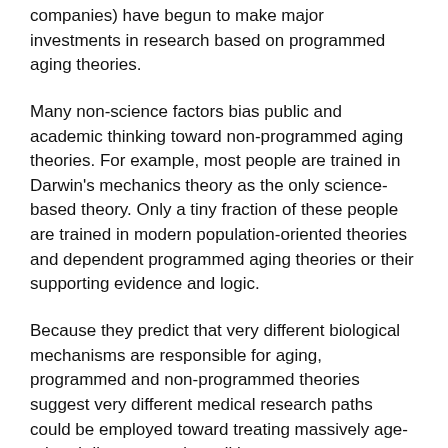companies) have begun to make major investments in research based on programmed aging theories.
Many non-science factors bias public and academic thinking toward non-programmed aging theories. For example, most people are trained in Darwin's mechanics theory as the only science-based theory. Only a tiny fraction of these people are trained in modern population-oriented theories and dependent programmed aging theories or their supporting evidence and logic.
Because they predict that very different biological mechanisms are responsible for aging, programmed and non-programmed theories suggest very different medical research paths could be employed toward treating massively age-related diseases and conditions.
For more on evolutionary mechanics and the case for population-oriented theories and programmed aging theories see:
Evolvability, population benefit, and the evolution of